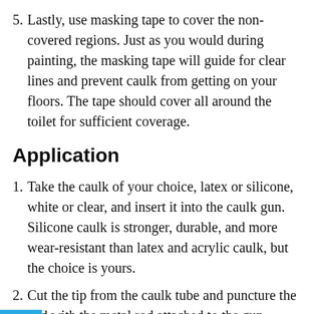5. Lastly, use masking tape to cover the non-covered regions. Just as you would during painting, the masking tape will guide for clear lines and prevent caulk from getting on your floors. The tape should cover all around the toilet for sufficient coverage.
Application
1. Take the caulk of your choice, latex or silicone, white or clear, and insert it into the caulk gun. Silicone caulk is stronger, durable, and more wear-resistant than latex and acrylic caulk, but the choice is yours.
2. Cut the tip from the caulk tube and puncture the end with the metal rod attached to the gun. While the tube holds the sealant, the gun is what allows you to paint around the toilet.